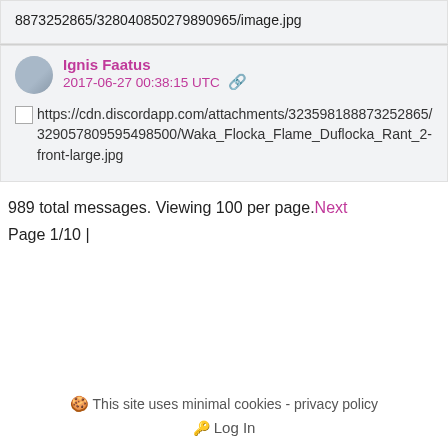8873252865/328040850279890965/image.jpg
Ignis Faatus
2017-06-27 00:38:15 UTC 🔗
https://cdn.discordapp.com/attachments/323598188873252865/329057809595498500/Waka_Flocka_Flame_Duflocka_Rant_2-front-large.jpg
989 total messages. Viewing 100 per page. Next Page 1/10 |
🍪 This site uses minimal cookies - privacy policy
🔑 Log In